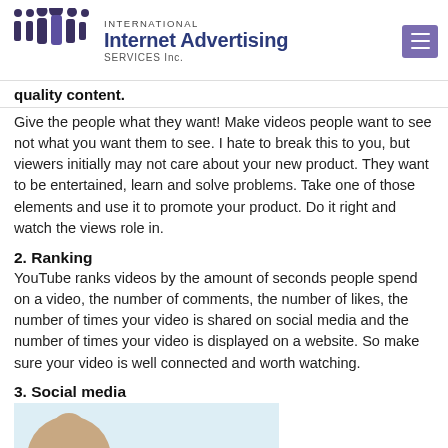International Internet Advertising SERVICES Inc.
quality content.
Give the people what they want! Make videos people want to see not what you want them to see. I hate to break this to you, but viewers initially may not care about your new product. They want to be entertained, learn and solve problems. Take one of those elements and use it to promote your product. Do it right and watch the views role in.
2. Ranking
YouTube ranks videos by the amount of seconds people spend on a video, the number of comments, the number of likes, the number of times your video is shared on social media and the number of times your video is displayed on a website. So make sure your video is well connected and worth watching.
3. Social media
[Figure (photo): Partial image of a person, light skin tone, bottom of page]